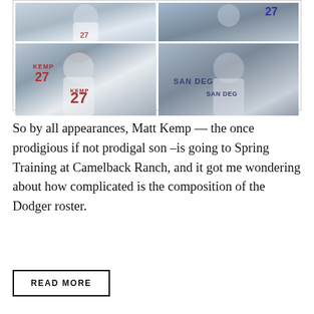[Figure (photo): Four-panel photo grid showing baseball players: top-left and bottom-left show Matt Kemp #27 in Braves uniform (white, throwing motion); top-right shows a player in blue uniform batting; bottom-right shows a player in San Diego Padres uniform batting.]
So by all appearances, Matt Kemp — the once prodigious if not prodigal son –is going to Spring Training at Camelback Ranch, and it got me wondering about how complicated is the composition of the Dodger roster.
READ MORE